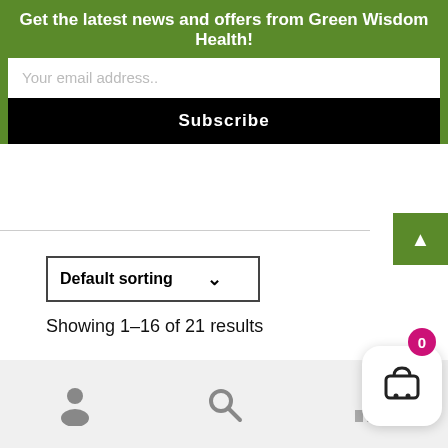Get the latest news and offers from Green Wisdom Health!
Your email address..
Subscribe
Default sorting
Showing 1–16 of 21 results
1  2  ▶
0